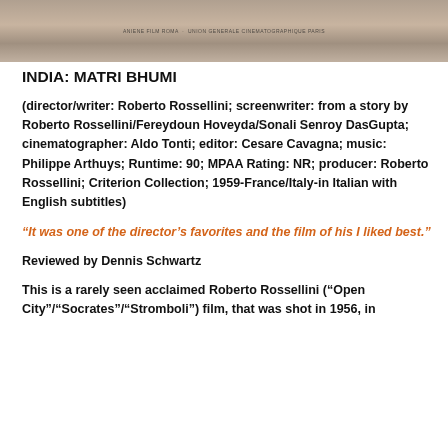[Figure (photo): Film poster or still image from India: Matri Bhumi, showing production company credits including 'Aniene Film Roma' and 'Union Generale Cinematographique Paris']
INDIA: MATRI BHUMI
(director/writer: Roberto Rossellini; screenwriter: from a story by Roberto Rossellini/Fereydoun Hoveyda/Sonali Senroy DasGupta; cinematographer: Aldo Tonti; editor: Cesare Cavagna; music: Philippe Arthuys; Runtime: 90; MPAA Rating: NR; producer: Roberto Rossellini; Criterion Collection; 1959-France/Italy-in Italian with English subtitles)
“It was one of the director’s favorites and the film of his I liked best.”
Reviewed by Dennis Schwartz
This is a rarely seen acclaimed Roberto Rossellini (“Open City”/“Socrates”/“Stromboli”) film, that was shot in 1956, in